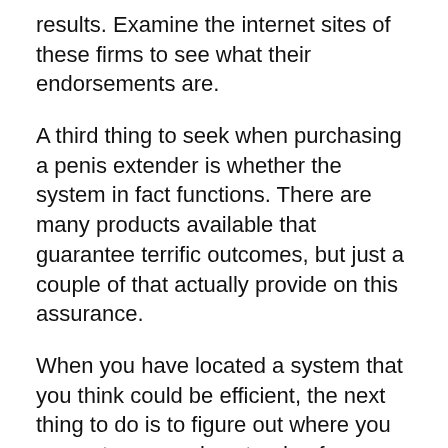results. Examine the internet sites of these firms to see what their endorsements are.
A third thing to seek when purchasing a penis extender is whether the system in fact functions. There are many products available that guarantee terrific outcomes, but just a couple of that actually provide on this assurance.
When you have located a system that you think could be efficient, the next thing to do is to figure out where you can get your penis extender. from.
The most effective location to buy a penis extender is from the manufacturer. Because many of these are constructed from clinical